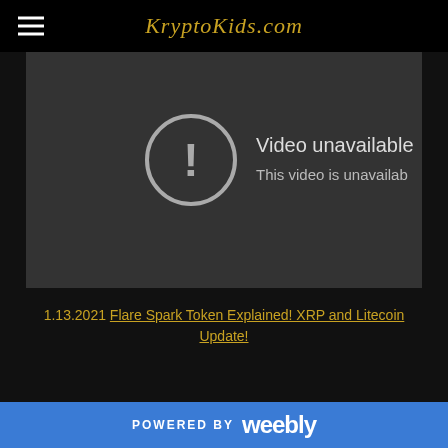KryptoKids.com
[Figure (screenshot): Video unavailable error screen showing a circle with exclamation mark and text 'Video unavailable / This video is unavailab']
1.13.2021 Flare Spark Token Explained! XRP and Litecoin Update!
POWERED BY weebly